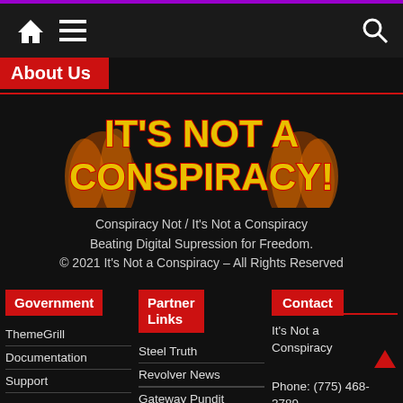Navigation bar with home, menu, and search icons
About Us
[Figure (illustration): IT'S NOT A CONSPIRACY! logo with flame/fire background and bold red and yellow stylized text]
Conspiracy Not / It's Not a Conspiracy
Beating Digital Supression for Freedom.
© 2021 It's Not a Conspiracy – All Rights Reserved
Government
ThemeGrill
Documentation
Support
Partner Links
Steel Truth
Revolver News
Gateway Pundit
Contact
It's Not a Conspiracy
Phone: (775) 468-3789